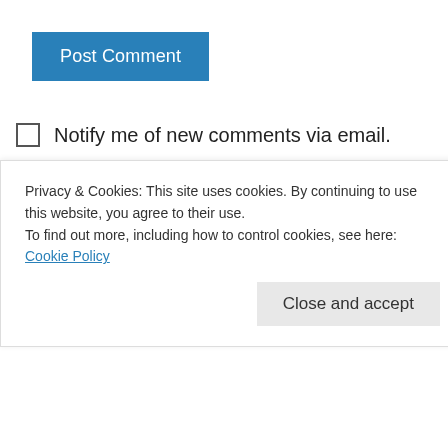[Figure (screenshot): Blue 'Post Comment' button]
Notify me of new comments via email.
Notify me of new posts via email.
[Figure (screenshot): Search input box with placeholder text 'Search']
Recent Posts
Privacy & Cookies: This site uses cookies. By continuing to use this website, you agree to their use.
To find out more, including how to control cookies, see here: Cookie Policy
Close and accept